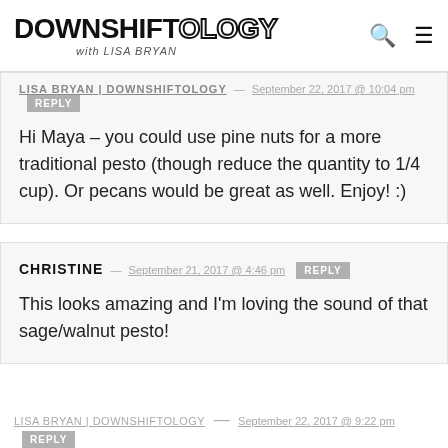DOWNSHIFTOLOGY with LISA BRYAN
LISA BRYAN | DOWNSHIFTOLOGY — September 22, 2017 @ 10:04 pm [REPLY]
Hi Maya – you could use pine nuts for a more traditional pesto (though reduce the quantity to 1/4 cup). Or pecans would be great as well. Enjoy! :)
CHRISTINE — September 21, 2017 @ 4:46 pm [REPLY]
This looks amazing and I'm loving the sound of that sage/walnut pesto!
LISA BRYAN | DOWNSHIFTOLOGY — September 22, 2017 @ 9:22 pm [REPLY]